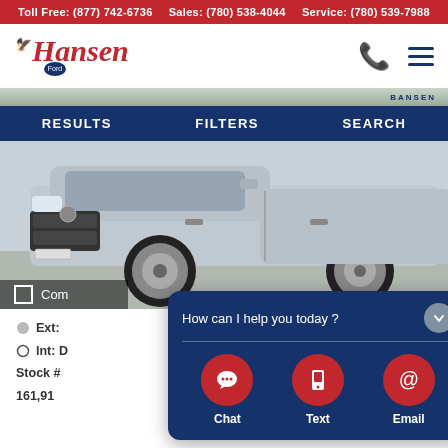Toll Free: (877) 742-6736   Sales: (780) 538-4044   Service: (780) 539-7988
[Figure (logo): Hansen Ford dealership logo — red cursive 'Hansen' text with blue Ford badge and blue bird icon]
[Figure (screenshot): Navigation bar with RESULTS, FILTERS, SEARCH links on dark blue background]
[Figure (photo): Silver RAM 1500 pickup truck photographed in dealership parking lot, front three-quarter view]
Ext:
Int: D
Stock #
161,91
[Figure (infographic): Chat widget overlay with 'How can I help you today?' header and three red circle buttons: Chat, Text, Email]